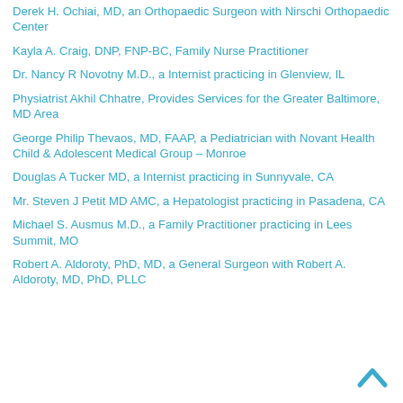Derek H. Ochiai, MD, an Orthopaedic Surgeon with Nirschi Orthopaedic Center
Kayla A. Craig, DNP, FNP-BC, Family Nurse Practitioner
Dr. Nancy R Novotny M.D., a Internist practicing in Glenview, IL
Physiatrist Akhil Chhatre, Provides Services for the Greater Baltimore, MD Area
George Philip Thevaos, MD, FAAP, a Pediatrician with Novant Health Child & Adolescent Medical Group – Monroe
Douglas A Tucker MD, a Internist practicing in Sunnyvale, CA
Mr. Steven J Petit MD AMC, a Hepatologist practicing in Pasadena, CA
Michael S. Ausmus M.D., a Family Practitioner practicing in Lees Summit, MO
Robert A. Aldoroty, PhD, MD, a General Surgeon with Robert A. Aldoroty, MD, PhD, PLLC
[Figure (illustration): Back to top chevron arrow icon in blue]